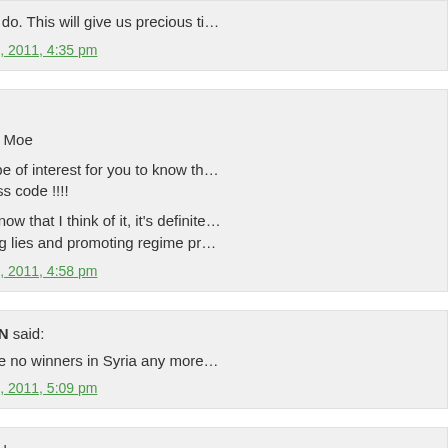they can do. This will give us precious ti…
April 25th, 2011, 4:35 pm
NK said:
Fadi and Moe
It might be of interest for you to know th… over dress code !!!!
Actually now that I think of it, it's definite… spreading lies and promoting regime pr…
April 25th, 2011, 4:58 pm
NORMAN said:
There are no winners in Syria any more…
April 25th, 2011, 5:09 pm
FADI said:
NK
I have followed this post closely. Howev… you guys. I have been worried why the a… Well guess what, Early morning the arm… of your thugs. Lots of weapons being co… …and in our home. Careful to S…